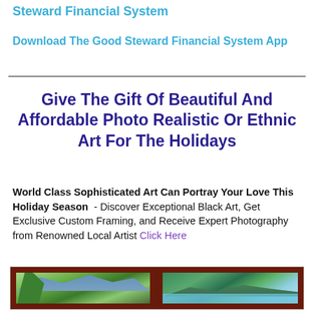Steward Financial System
Download The Good Steward Financial System App
Give The Gift Of Beautiful And Affordable Photo Realistic Or Ethnic Art For The Holidays
World Class Sophisticated Art Can Portray Your Love This Holiday Season - Discover Exceptional Black Art, Get Exclusive Custom Framing, and Receive Expert Photography from Renowned Local Artist Click Here
[Figure (photo): Two framed landscape paintings side by side. Left painting shows tropical foliage with mountains and blue sky. Right painting shows a coastal scene with lush green hills, blue ocean water, and a sandy beach.]